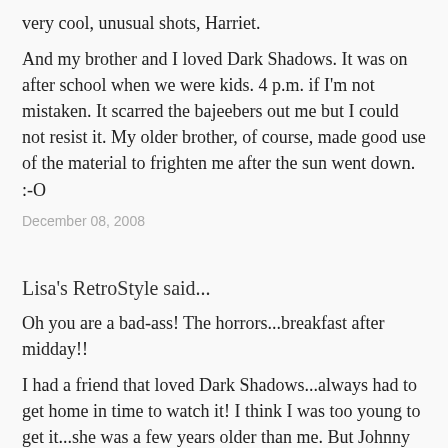very cool, unusual shots, Harriet.
And my brother and I loved Dark Shadows. It was on after school when we were kids. 4 p.m. if I'm not mistaken. It scarred the bajeebers out me but I could not resist it. My older brother, of course, made good use of the material to frighten me after the sun went down. :-O
December 08, 2008
Lisa's RetroStyle said...
Oh you are a bad-ass! The horrors...breakfast after midday!!
I had a friend that loved Dark Shadows...always had to get home in time to watch it! I think I was too young to get it...she was a few years older than me. But Johnny Depp always sounds good:)
Lovely collages. Great trash bin shadows!! Thanks for suffering the olfactory insult so we could appreciate all those circular shadows!